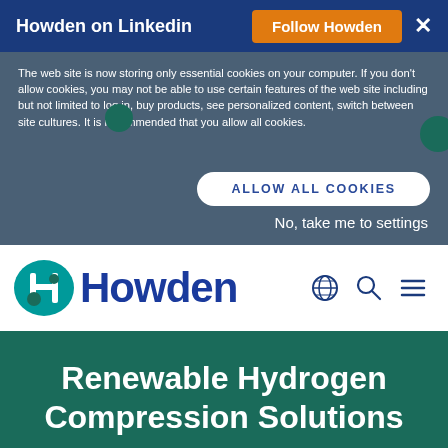Howden on Linkedin   Follow Howden   ×
The web site is now storing only essential cookies on your computer. If you don't allow cookies, you may not be able to use certain features of the web site including but not limited to log in, buy products, see personalized content, switch between site cultures. It is recommended that you allow all cookies.
ALLOW ALL COOKIES
No, take me to settings
[Figure (logo): Howden company logo with teal circular emblem and blue bold wordmark 'Howden']
Renewable Hydrogen Compression Solutions
Contact Us